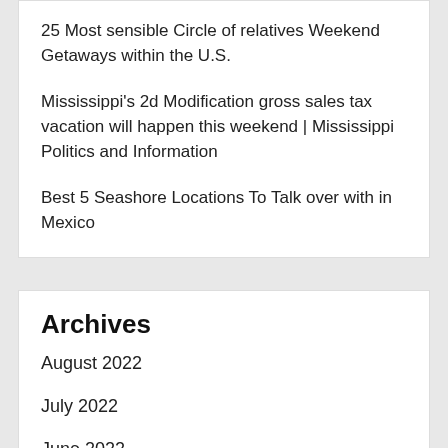25 Most sensible Circle of relatives Weekend Getaways within the U.S.
Mississippi's 2d Modification gross sales tax vacation will happen this weekend | Mississippi Politics and Information
Best 5 Seashore Locations To Talk over with in Mexico
Archives
August 2022
July 2022
June 2022
May 2022